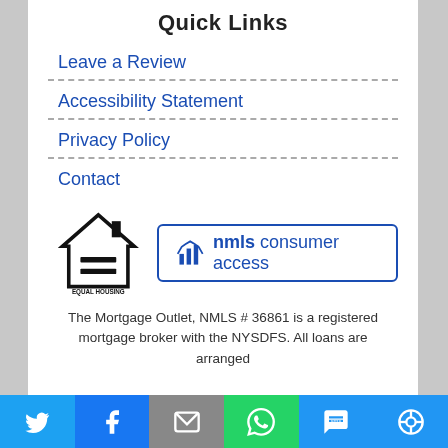Quick Links
Leave a Review
Accessibility Statement
Privacy Policy
Contact
[Figure (logo): Equal Housing Lender logo (house with equal sign) and NMLS consumer access badge]
The Mortgage Outlet, NMLS # 36861 is a registered mortgage broker with the NYSDFS. All loans are arranged